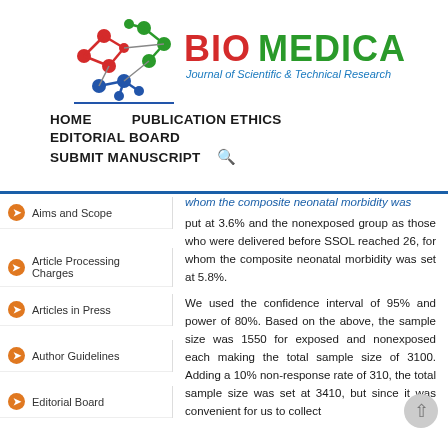[Figure (logo): Biomedical Journal of Scientific & Technical Research logo with molecular network graphic in red, green, blue and BIOMEDICAL text in red/green with subtitle in blue]
HOME    PUBLICATION ETHICS
EDITORIAL BOARD
SUBMIT MANUSCRIPT  🔍
Aims and Scope
Article Processing Charges
Articles in Press
Author Guidelines
Editorial Board
whom the composite neonatal morbidity was put at 3.6% and the nonexposed group as those who were delivered before SSOL reached 26, for whom the composite neonatal morbidity was set at 5.8%.
We used the confidence interval of 95% and power of 80%. Based on the above, the sample size was 1550 for exposed and nonexposed each making the total sample size of 3100. Adding a 10% non-response rate of 310, the total sample size was set at 3410, but since it was convenient for us to collect